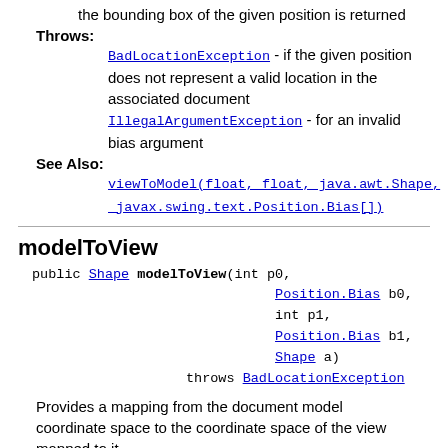the bounding box of the given position is returned
Throws:
BadLocationException - if the given position does not represent a valid location in the associated document
IllegalArgumentException - for an invalid bias argument
See Also:
viewToModel(float, float, java.awt.Shape, javax.swing.text.Position.Bias[])
modelToView
public Shape modelToView(int p0,
                          Position.Bias b0,
                          int p1,
                          Position.Bias b1,
                          Shape a)
                   throws BadLocationException
Provides a mapping from the document model coordinate space to the coordinate space of the view mapped to it.
Parameters:
p0 - the position to convert >= 0